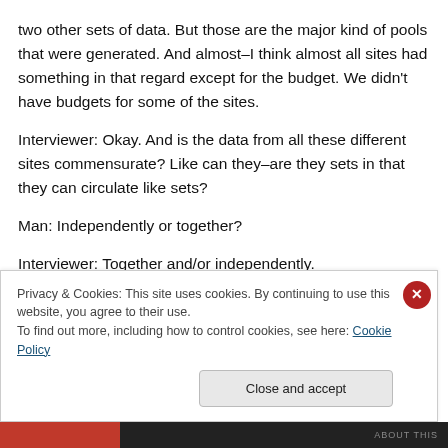two other sets of data. But those are the major kind of pools that were generated. And almost–I think almost all sites had something in that regard except for the budget. We didn't have budgets for some of the sites.
Interviewer: Okay. And is the data from all these different sites commensurate? Like can they–are they sets in that they can circulate like sets?
Man: Independently or together?
Interviewer: Together and/or independently.
Privacy & Cookies: This site uses cookies. By continuing to use this website, you agree to their use.
To find out more, including how to control cookies, see here: Cookie Policy